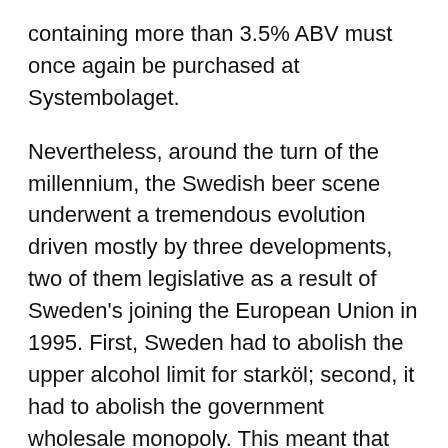containing more than 3.5% ABV must once again be purchased at Systembolaget.
Nevertheless, around the turn of the millennium, the Swedish beer scene underwent a tremendous evolution driven mostly by three developments, two of them legislative as a result of Sweden's joining the European Union in 1995. First, Sweden had to abolish the upper alcohol limit for starköl; second, it had to abolish the government wholesale monopoly. This meant that virtually all the world's beers could be made available at Systembolaget. Swedes even in the most sparsely populated regions could now drink barley wines, imperial stouts, doppelbocks, and abbey beers at home, not just while traveling abroad. As of 2011, there were 1,070 different beers from 54 countries available at retail through Systembolaget.